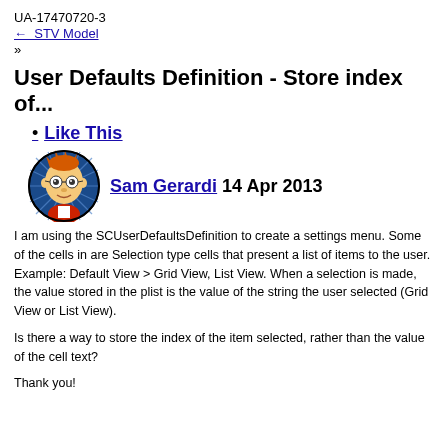UA-17470720-3
← STV Model
»
User Defaults Definition - Store index of...
Like This
[Figure (illustration): Circular avatar image of Futurama character Fry with blue starburst background]
Sam Gerardi 14 Apr 2013
I am using the SCUserDefaultsDefinition to create a settings menu. Some of the cells in are Selection type cells that present a list of items to the user. Example: Default View > Grid View, List View. When a selection is made, the value stored in the plist is the value of the string the user selected (Grid View or List View).
Is there a way to store the index of the item selected, rather than the value of the cell text?
Thank you!